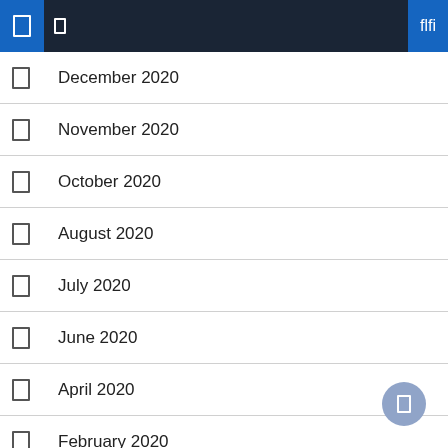Navigation bar with icons and search
December 2020
November 2020
October 2020
August 2020
July 2020
June 2020
April 2020
February 2020
January 2020
September 2019